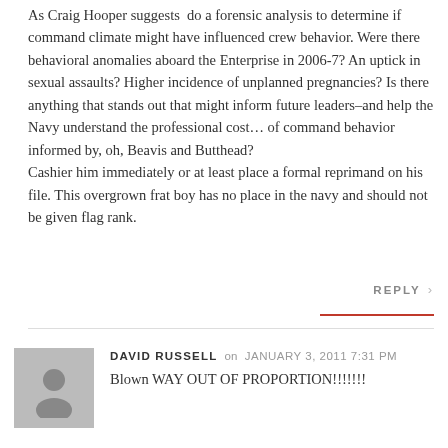As Craig Hooper suggests  do a forensic analysis to determine if command climate might have influenced crew behavior. Were there behavioral anomalies aboard the Enterprise in 2006-7? An uptick in sexual assaults? Higher incidence of unplanned pregnancies? Is there anything that stands out that might inform future leaders–and help the Navy understand the professional cost… of command behavior informed by, oh, Beavis and Butthead?
Cashier him immediately or at least place a formal reprimand on his file. This overgrown frat boy has no place in the navy and should not be given flag rank.
REPLY
DAVID RUSSELL on JANUARY 3, 2011 7:31 PM
Blown WAY OUT OF PROPORTION!!!!!!!